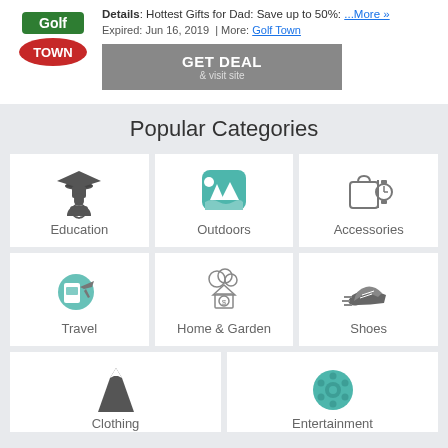[Figure (logo): Golf Town logo with red oval and green text]
Details: Hottest Gifts for Dad: Save up to 50%: ...More »
Expired: Jun 16, 2019 | More: Golf Town
GET DEAL & visit site
Popular Categories
[Figure (illustration): Education icon - graduation cap figure with globe]
Education
[Figure (illustration): Outdoors icon - teal rounded square with trees and water]
Outdoors
[Figure (illustration): Accessories icon - bag and watch]
Accessories
[Figure (illustration): Travel icon - teal circle with passport and plane]
Travel
[Figure (illustration): Home & Garden icon - house with dollar flower]
Home & Garden
[Figure (illustration): Shoes icon - running shoe]
Shoes
[Figure (illustration): Clothing icon - dress]
Clothing
[Figure (illustration): Entertainment icon - film reel]
Entertainment